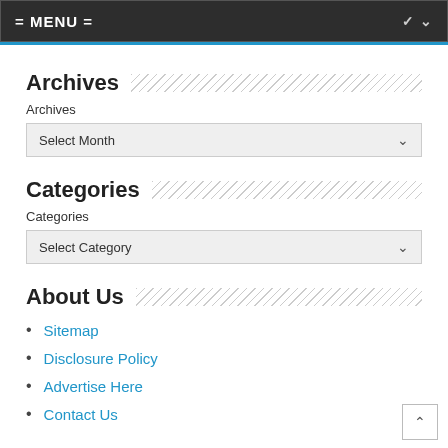= MENU =
Archives
Archives
Select Month
Categories
Categories
Select Category
About Us
Sitemap
Disclosure Policy
Advertise Here
Contact Us